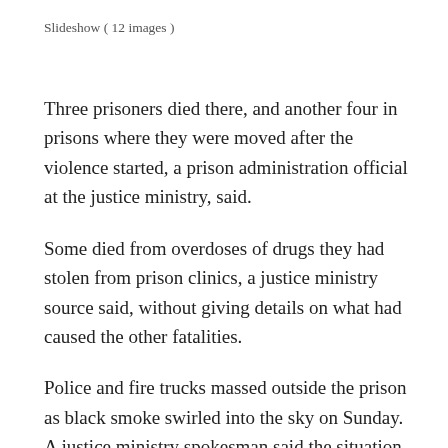Slideshow ( 12 images )
Three prisoners died there, and another four in prisons where they were moved after the violence started, a prison administration official at the justice ministry, said.
Some died from overdoses of drugs they had stolen from prison clinics, a justice ministry source said, without giving details on what had caused the other fatalities.
Police and fire trucks massed outside the prison as black smoke swirled into the sky on Sunday. A justice ministry spokesman said the situation there was under control by Monday, and officials were assessing the